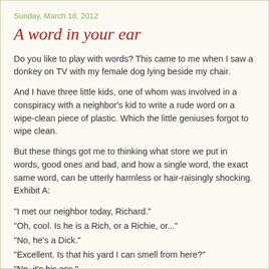Sunday, March 18, 2012
A word in your ear
Do you like to play with words?  This came to me when I saw a donkey on TV with my female dog lying beside my chair.
And I have three little kids, one of whom was involved in a conspiracy with a neighbor's kid to write a rude word on a wipe-clean piece of plastic.  Which the little geniuses forgot to wipe clean.
But these things got me to thinking what store we put in words, good ones and bad, and how a single word, the exact same word, can be utterly harmless or hair-raisingly shocking.  Exhibit A:
"I met our neighbor today, Richard."
"Oh, cool.  Is he is a Rich, or a Richie, or..."
"No, he's a Dick."
"Excellent.  Is that his yard I can smell from here?"
"No, it's his ass."